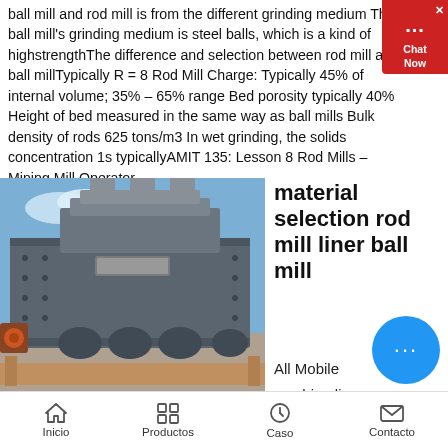ball mill and rod mill is from the different grinding medium The ball mill's grinding medium is steel balls, which is a kind of highstrengthThe difference and selection between rod mill and ball millTypically R = 8 Rod Mill Charge: Typically 45% of internal volume; 35% – 65% range Bed porosity typically 40% Height of bed measured in the same way as ball mills Bulk density of rods 625 tons/m3 In wet grinding, the solids concentration 1s typicallyAMIT 135: Lesson 8 Rod Mills – Mining Mill Operator
[Figure (photo): Industrial rod mill or crushing/grinding machine, large grey metal equipment photographed outdoors under blue sky]
material selection rod mill liner ball mill
All Mobile
crushing line
Stationary
Inicio    Productos    Caso    Contacto